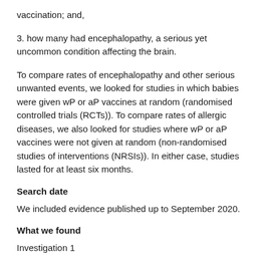vaccination; and,
3. how many had encephalopathy, a serious yet uncommon condition affecting the brain.
To compare rates of encephalopathy and other serious unwanted events, we looked for studies in which babies were given wP or aP vaccines at random (randomised controlled trials (RCTs)). To compare rates of allergic diseases, we also looked for studies where wP or aP vaccines were not given at random (non-randomised studies of interventions (NRSIs)). In either case, studies lasted for at least six months.
Search date
We included evidence published up to September 2020.
What we found
Investigation 1